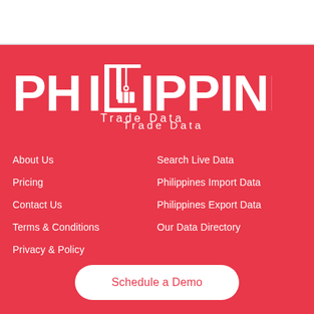[Figure (logo): Philippines Trade Data logo — white text on red background with a crane icon replacing the letter L]
About Us
Pricing
Contact Us
Terms & Conditions
Privacy & Policy
Search Live Data
Philippines Import Data
Philippines Export Data
Our Data Directory
Schedule a Demo